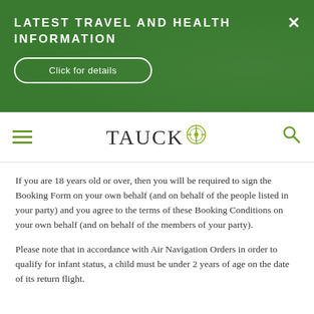LATEST TRAVEL AND HEALTH INFORMATION
Click for details
TAUCK [logo]
If you are 18 years old or over, then you will be required to sign the Booking Form on your own behalf (and on behalf of the people listed in your party) and you agree to the terms of these Booking Conditions on your own behalf (and on behalf of the members of your party).
Please note that in accordance with Air Navigation Orders in order to qualify for infant status, a child must be under 2 years of age on the date of its return flight.